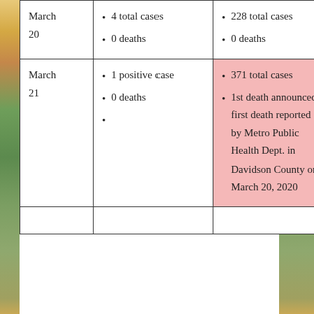| Date | Local | State |
| --- | --- | --- |
| March 20 | • 4 total cases
• 0 deaths | • 228 total cases
• 0 deaths |
| March 21 | • 1 positive case
• 0 deaths
• | • 371 total cases
• 1st death announced - first death reported by Metro Public Health Dept. in Davidson County on March 20, 2020 |